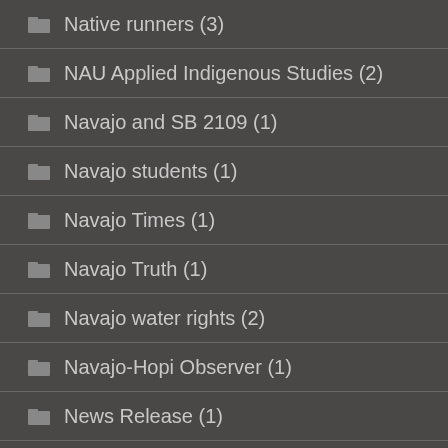Native runners (3)
NAU Applied Indigenous Studies (2)
Navajo and SB 2109 (1)
Navajo students (1)
Navajo Times (1)
Navajo Truth (1)
Navajo water rights (2)
Navajo-Hopi Observer (1)
News Release (1)